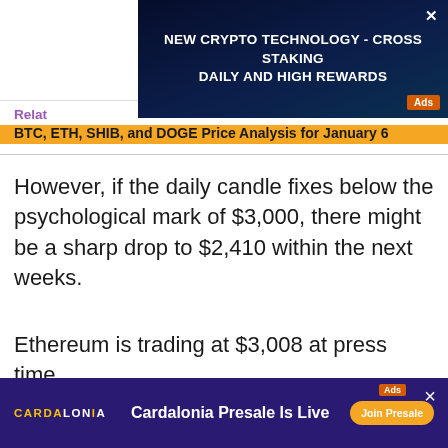[Figure (screenshot): Top advertisement banner: dark blue/navy background with text 'NEW CRYPTO TECHNOLOGY - CROSS STAKING DAILY AND HIGH REWARDS', orange Ads badge, and X close button]
Relat...
BTC, ETH, SHIB, and DOGE Price Analysis for January 6
However, if the daily candle fixes below the psychological mark of $3,000, there might be a sharp drop to $2,410 within the next weeks.
Ethereum is trading at $3,008 at press time.
XRP/USD
XRP has also followed the decline of BTC and ETH, losing 2.61% of its price share over the last 24 hours.
[Figure (screenshot): Bottom advertisement banner: dark purple background with Cardalonia logo in yellow, 'Cardalonia Presale Is Live' text, orange 'Join Presale' button, Ads badge, and X close button]